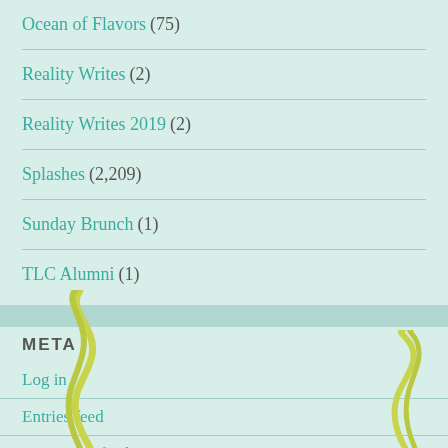Ocean of Flavors (75)
Reality Writes (2)
Reality Writes 2019 (2)
Splashes (2,209)
Sunday Brunch (1)
TLC Alumni (1)
META
Log in
Entries feed
Comments feed
WordPress.org